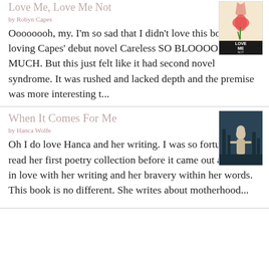Love Me, Love Me Not
by [author name]
Oooooooh, my. I'm so sad that I didn't love this book, after loving Capes' debut novel Careless SO BLOOOODY MUCH. But this just felt like it had second novel syndrome. It was rushed and lacked depth and the premise was more interesting t...
[Figure (illustration): Book cover of Love Me Not - red/orange cover with hand holding flowers]
When It Comes For Me
by [author name]
Oh I do love Hanca and her writing. I was so fortunate to read her first poetry collection before it came out and I fell in love with her writing and her bravery within her words. This book is no different. She writes about motherhood...
[Figure (illustration): Book cover of When It Comes For Me - teal/dark cover with figure illustration]